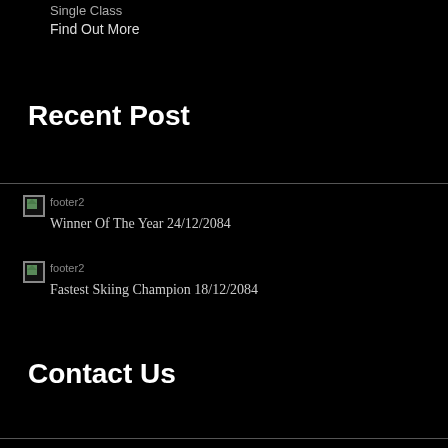Single Class
Find Out More
Recent Post
footer2  Winner Of The Year 24/12/2084
footer2  Fastest Skiing Champion 18/12/2084
Contact Us